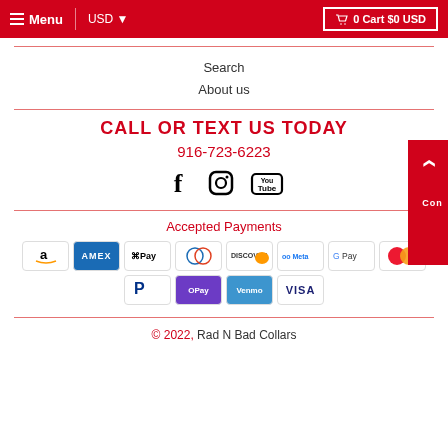Menu  USD  0 Cart $0 USD
Search
About us
CALL OR TEXT US TODAY
916-723-6223
[Figure (infographic): Social media icons: Facebook, Instagram, YouTube]
Accepted Payments
[Figure (infographic): Payment method logos: Amazon, Amex, Apple Pay, Diners Club, Discover, Meta Pay, Google Pay, Mastercard, PayPal, OPay, Venmo, Visa]
© 2022, Rad N Bad Collars